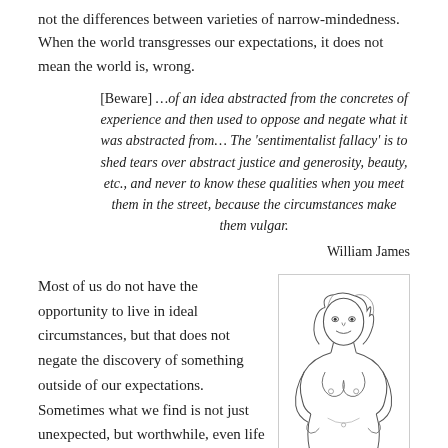not the differences between varieties of narrow-mindedness. When the world transgresses our expectations, it does not mean the world is, wrong.
[Beware] …of an idea abstracted from the concretes of experience and then used to oppose and negate what it was abstracted from… The 'sentimentalist fallacy' is to shed tears over abstract justice and generosity, beauty, etc., and never to know these qualities when you meet them in the street, because the circumstances make them vulgar. William James
Most of us do not have the opportunity to live in ideal circumstances, but that does not negate the discovery of something outside of our expectations. Sometimes what we find is not just unexpected, but worthwhile, even life changing, like
[Figure (illustration): A pencil sketch illustration of a full-figured woman standing with hands on hips, shown in a frontal pose, nude figure drawn in simple line art style.]